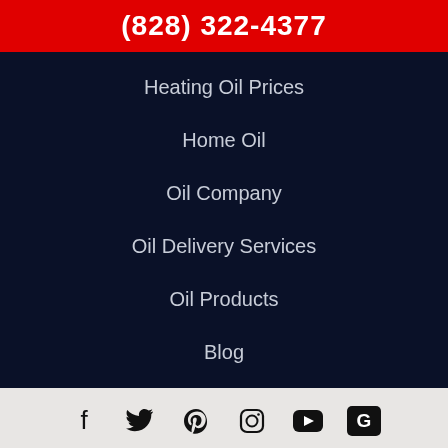(828) 322-4377
Heating Oil Prices
Home Oil
Oil Company
Oil Delivery Services
Oil Products
Blog
[Figure (other): Social media icons: Facebook, Twitter, Pinterest, Instagram, YouTube, Google Reviews]
© 2022 Bumgarner Oil, Hickory, NC
HOURS   MAP